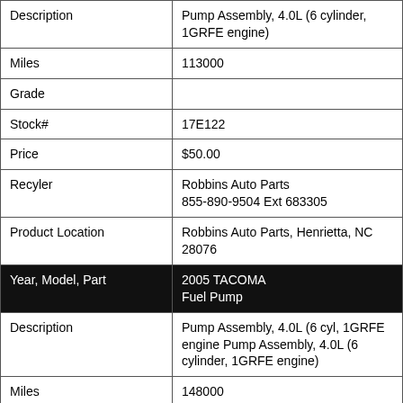| Field | Value |
| --- | --- |
| Description | Pump Assembly, 4.0L (6 cylinder, 1GRFE engine) |
| Miles | 113000 |
| Grade |  |
| Stock# | 17E122 |
| Price | $50.00 |
| Recyler | Robbins Auto Parts 855-890-9504 Ext 683305 |
| Product Location | Robbins Auto Parts, Henrietta, NC 28076 |
| Year, Model, Part | 2005 TACOMA Fuel Pump |
| Description | Pump Assembly, 4.0L (6 cyl, 1GRFE engine Pump Assembly, 4.0L (6 cylinder, 1GRFE engine) |
| Miles | 148000 |
| Grade |  |